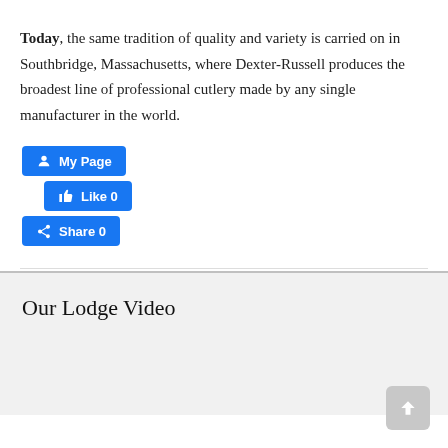Today, the same tradition of quality and variety is carried on in Southbridge, Massachusetts, where Dexter-Russell produces the broadest line of professional cutlery made by any single manufacturer in the world.
[Figure (screenshot): Facebook social buttons: 'My Page' button, 'Like 0' button, and 'Share 0' button, all in blue with white Facebook icons and text]
Our Lodge Video